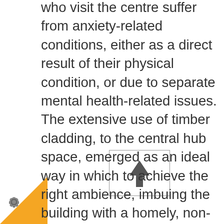who visit the centre suffer from anxiety-related conditions, either as a direct result of their physical condition, or due to separate mental health-related issues. The extensive use of timber cladding, to the central hub space, emerged as an ideal way in which to achieve the right ambience, imbuing the building with a homely, non-institutional feel, whilst contributing to the improvement of air quality.

Vertical sections extend out of the facade, to window locations on both the